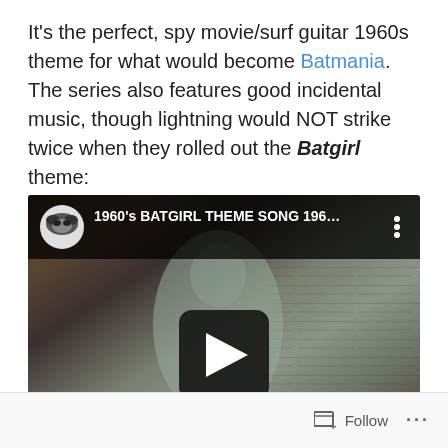It's the perfect, spy movie/surf guitar 1960s theme for what would become Batmania. The series also features good incidental music, though lightning would NOT strike twice when they rolled out the Batgirl theme:
[Figure (screenshot): YouTube video embed showing '1960's BATGIRL THEME SONG 196...' with a play button overlay. Background shows a vintage scene with a figure near a brick wall. Top bar shows a thumbnail avatar of a masked figure and video title.]